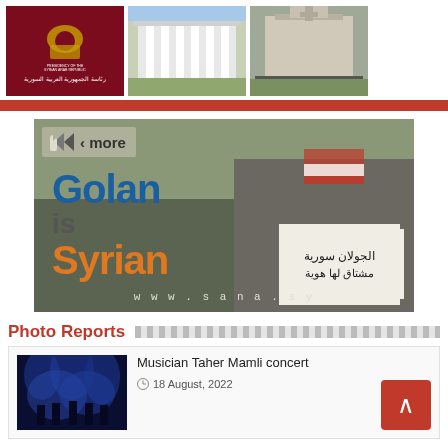[Figure (photo): Three images: Syrian Arab Republic Presidency logo on dark red background, exterior photo of a white government building, exterior photo of another government building]
[Figure (infographic): Banner image: 'Golan is Syrian' with Arabic text and photo of protesters holding Syrian flags and a sign. URL www.sana.sy visible. A 'more' button with arrow icon in top left corner.]
Photo Reports
[Figure (photo): Thumbnail of Musician Taher Mamli concert - dark blue stage lighting with performers]
Musician Taher Mamli concert
18 August, 2022